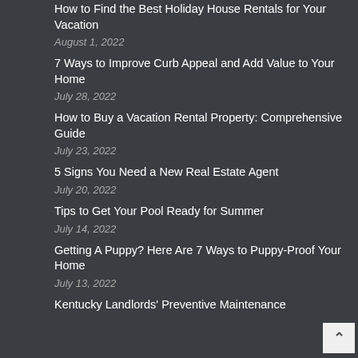How to Find the Best Holiday House Rentals for Your Vacation
August 1, 2022
7 Ways to Improve Curb Appeal and Add Value to Your Home
July 28, 2022
How to Buy a Vacation Rental Property: Comprehensive Guide
July 23, 2022
5 Signs You Need a New Real Estate Agent
July 20, 2022
Tips to Get Your Pool Ready for Summer
July 14, 2022
Getting A Puppy? Here Are 7 Ways to Puppy-Proof Your Home
July 13, 2022
Kentucky Landlords' Preventive Maintenance